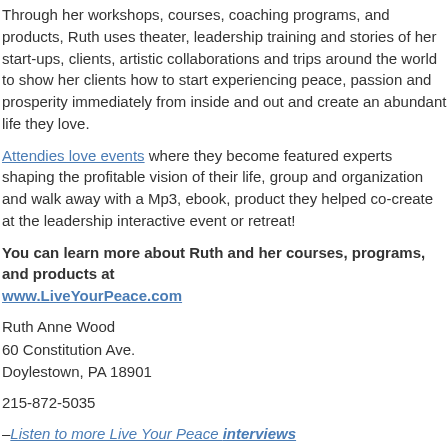Through her workshops, courses, coaching programs, and products, Ruth uses theater, leadership training and stories of her start-ups, clients, artistic collaborations and trips around the world to show her clients how to start experiencing peace, passion and prosperity immediately from inside and out and create an abundant life they love.
Attendies love events where they become featured experts shaping the profitable vision of their life, group and organization and walk away with a Mp3, ebook, product they helped co-create at the leadership interactive event or retreat!
You can learn more about Ruth and her courses, programs, and products at www.LiveYourPeace.com
Ruth Anne Wood
60 Constitution Ave.
Doylestown, PA 18901
215-872-5035
–Listen to more Live Your Peace interviews
–Become a Live Your Peace facebook fan
–Suggest a Live Your Peace expert
–Book a speaker/trainer at your next retreat/event